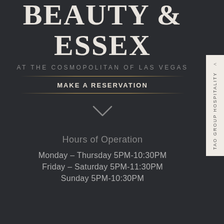BEAUTY & ESSEX
AT THE COSMOPOLITAN OF LAS VEGAS
MAKE A RESERVATION
Hours of Operation
Monday – Thursday 5PM-10:30PM
Friday – Saturday 5PM-11:30PM
Sunday 5PM-10:30PM
TAO GROUP HOSPITALITY